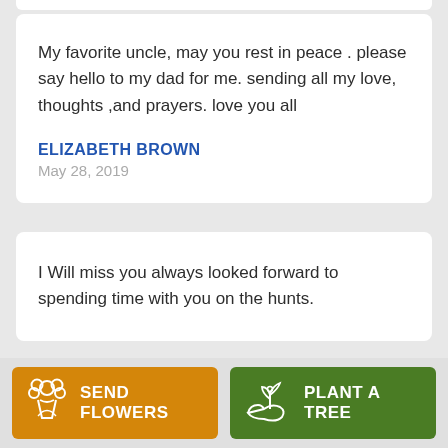My favorite uncle, may you rest in peace . please say hello to my dad for me. sending all my love, thoughts ,and prayers. love you all
ELIZABETH BROWN
May 28, 2019
I Will miss you always looked forward to spending time with you on the hunts.
SEND FLOWERS
PLANT A TREE